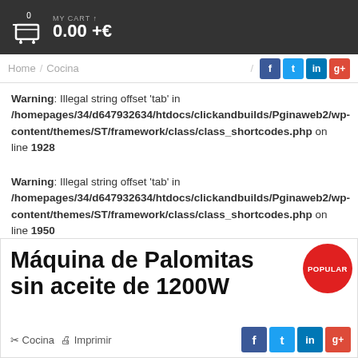MY CART 0.00 +€
Home / Cocina
Warning: Illegal string offset 'tab' in /homepages/34/d647932634/htdocs/clickandbuilds/Pginaweb2/wp-content/themes/ST/framework/class/class_shortcodes.php on line 1928
Warning: Illegal string offset 'tab' in /homepages/34/d647932634/htdocs/clickandbuilds/Pginaweb2/wp-content/themes/ST/framework/class/class_shortcodes.php on line 1950
Máquina de Palomitas sin aceite de 1200W
Cocina  Imprimir